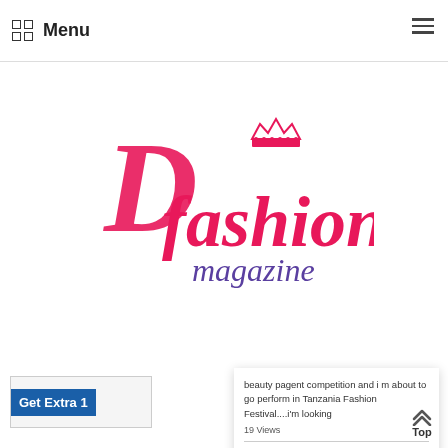Menu
[Figure (logo): D Fashion Magazine logo with stylized pink 'D fashion' text and crown, purple 'magazine' script below]
[Figure (screenshot): Ad banner showing 'Get Extra 1' on blue background]
beauty pagent competition and i m about to go perform in Tanzania Fashion Festival....i'm looking
19 Views
[Figure (photo): Fashion model photo - woman in white dress seated outdoors]
Ratu Tasqia Nazwa
20 Views
ABOUT
D Fashion Magazine is an Online Fashion and Lifestyle Magazine that features the latest fashion videos, models and news across the World. D Fashion Magazine is the ultimate luxury fashion destination for fashion lovers covering global trends effecting the World. D Fashion Magazine is also an Online Directory of Fashion